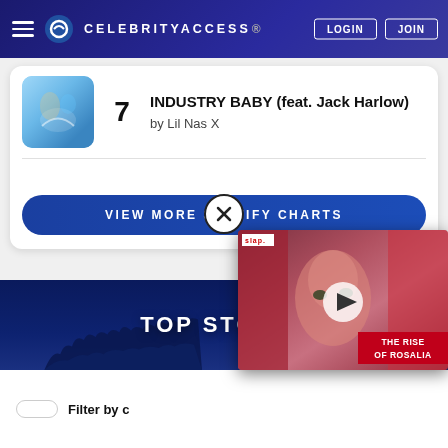CELEBRITYACCESS. LOGIN JOIN
7 INDUSTRY BABY (feat. Jack Harlow) by Lil Nas X
VIEW MORE SPOTIFY CHARTS
TOP STORIES
Filter by c
[Figure (screenshot): Video overlay showing a woman's face with red hair, a play button, slap. tag, and THE RISE OF ROSALIA text overlay]
THE RISE OF ROSALIA